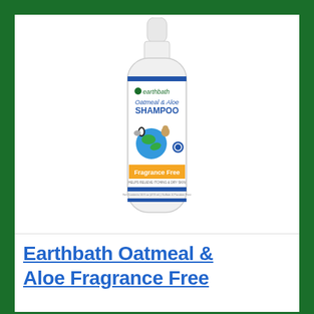[Figure (photo): Product photo of Earthbath Oatmeal & Aloe Shampoo white bottle with blue stripe, orange 'Fragrance Free' band, and globe/animals illustration on label]
Earthbath Oatmeal & Aloe Fragrance Free